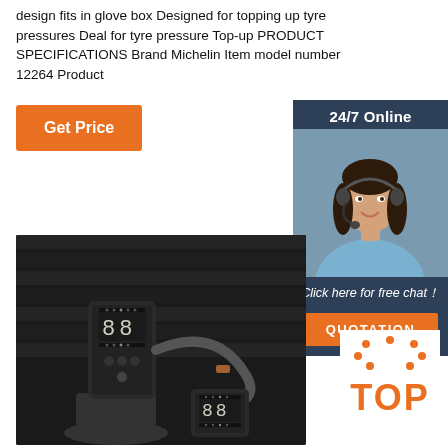design fits in glove box Designed for topping up tyre pressures Deal for tyre pressure Top-up PRODUCT SPECIFICATIONS Brand Michelin Item model number 12264 Product
[Figure (other): Orange 'Get Price' button]
[Figure (other): Customer service chat widget with '24/7 Online' header, photo of smiling woman with headset, 'Click here for free chat!' text, and orange QUOTATION button]
[Figure (photo): Product photo of two portable tyre inflator/pump devices with digital displays on a dark background]
[Figure (logo): Orange 'TOP' logo with dots arranged above the text on a white background]